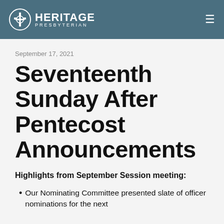Heritage Presbyterian
September 17, 2021
Seventeenth Sunday After Pentecost Announcements
Highlights from September Session meeting:
Our Nominating Committee presented slate of officer nominations for the next